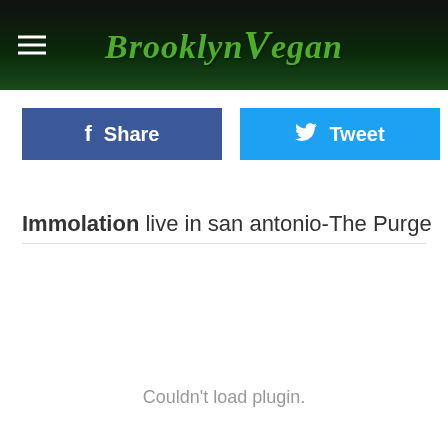BrooklynVegan
Share
Tweet
Immolation live in san antonio-The Purge
Couldn't load plugin.